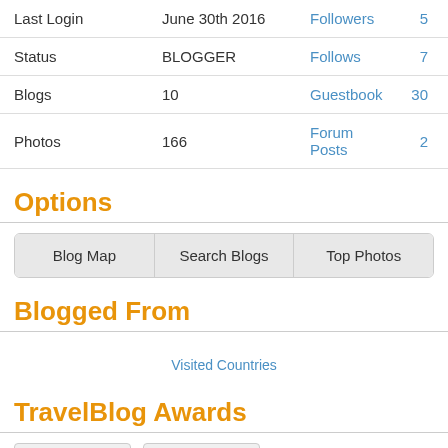| Last Login | June 30th 2016 | Followers | 5 |
| Status | BLOGGER | Follows | 7 |
| Blogs | 10 | Guestbook | 30 |
| Photos | 166 | Forum Posts | 2 |
Options
Blog Map
Search Blogs
Top Photos
Blogged From
[Figure (other): Visited Countries map placeholder image]
TravelBlog Awards
[Figure (other): Award image 1 placeholder]
[Figure (other): Award image 2 placeholder]